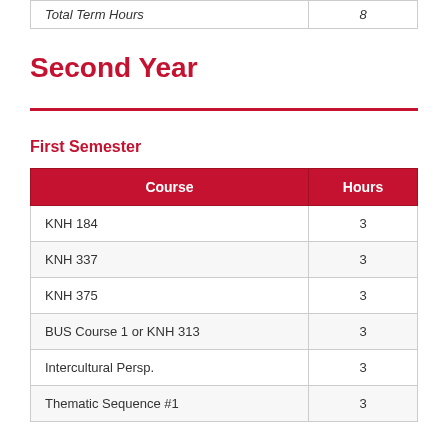|  |  |
| --- | --- |
| Total Term Hours | 8 |
Second Year
First Semester
| Course | Hours |
| --- | --- |
| KNH 184 | 3 |
| KNH 337 | 3 |
| KNH 375 | 3 |
| BUS Course 1 or KNH 313 | 3 |
| Intercultural Persp. | 3 |
| Thematic Sequence #1 | 3 |